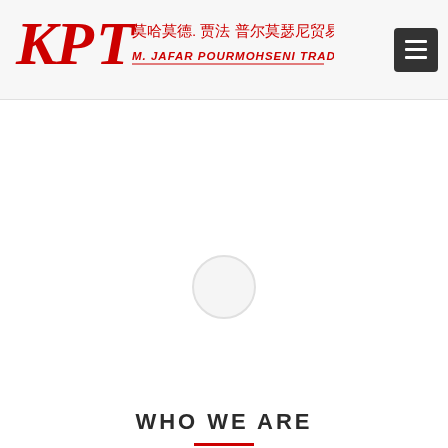[Figure (logo): KPT logo with Chinese characters and English text: M. JAFAR POURMOHSENI TRADING in red]
[Figure (other): Hamburger menu icon button (three horizontal white lines on dark gray/black background)]
[Figure (other): Loading spinner circle placeholder in the center of the main content area]
WHO WE ARE